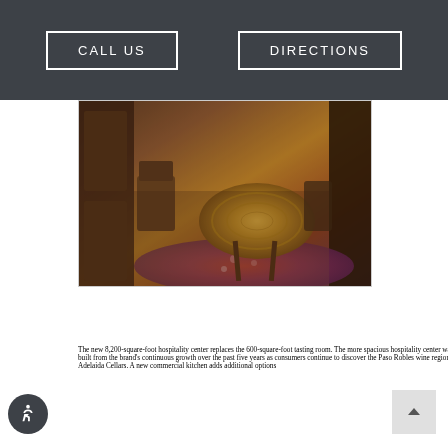CALL US   DIRECTIONS
[Figure (photo): Interior photo of a hospitality center showing wooden furniture including a large round wood-slice table, chairs, and a patterned rug on the floor.]
The new 8,200-square-foot hospitality center replaces the 600-square-foot tasting room. The more spacious hospitality center was built from the brand’s continuous growth over the past five years as consumers continue to discover the Paso Robles wine region and Adelaida Cellars. A new commercial kitchen adds additional options